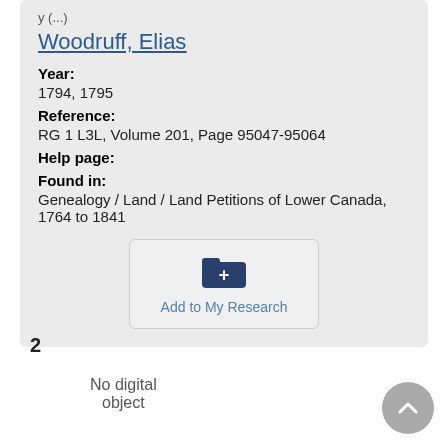Woodruff, Elias
Year:
1794, 1795
Reference:
RG 1 L3L, Volume 201, Page 95047-95064
Help page:
Found in:
Genealogy / Land / Land Petitions of Lower Canada, 1764 to 1841
[Figure (other): Add to My Research button with folder-plus icon]
2
No digital object